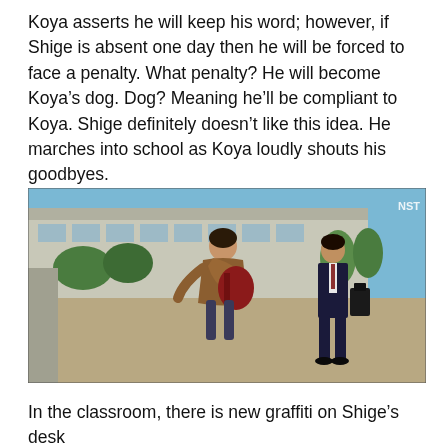Koya asserts he will keep his word; however, if Shige is absent one day then he will be forced to face a penalty. What penalty? He will become Koya’s dog. Dog? Meaning he’ll be compliant to Koya. Shige definitely doesn’t like this idea. He marches into school as Koya loudly shouts his goodbyes.
[Figure (photo): Outdoor scene at a school with two people: one person bowing deeply wearing a brown jacket with a red backpack, and another person standing in a dark suit holding a bag. A school building and trees are visible in the background under a blue sky. NST watermark in upper right.]
In the classroom, there is new graffiti on Shige’s desk